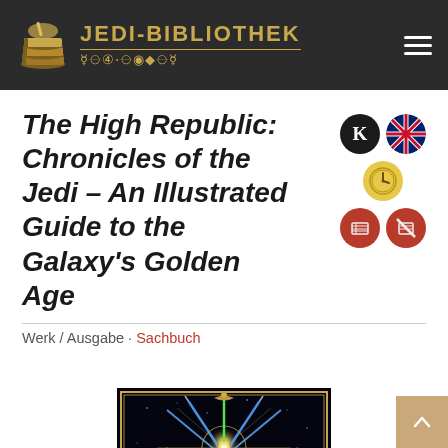JEDI-BIBLIOTHEK
The High Republic: Chronicles of the Jedi – An Illustrated Guide to the Galaxy's Golden Age
Werk / Ausgabe · Sachbuch
[Figure (photo): Book cover art showing lightsabers radiating from a central star/sun motif with gold ornamental border on black background]